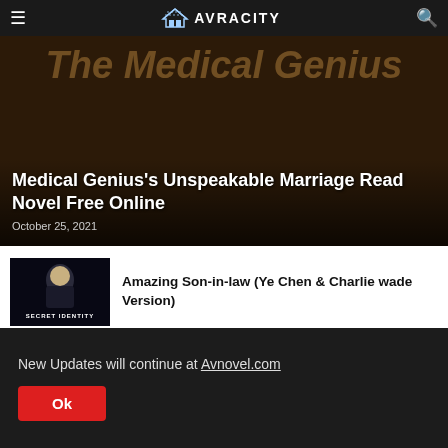≡  AVRACITY  🔍
[Figure (screenshot): Hero banner for 'The Medical Genius' book cover with dark brown background and large stylized title text]
Medical Genius's Unspeakable Marriage Read Novel Free Online
October 25, 2021
[Figure (screenshot): Thumbnail for 'Secret Identity' showing a dark figure with text 'SECRET IDENTITY' at the bottom]
Amazing Son-in-law (Ye Chen & Charlie wade Version)
[Figure (screenshot): Thumbnail for 'A Dish Best Served Cold' showing a brownish textured background with italic text]
A Dish Best Served Cold: Full Chinese Story of Ye Fan
New Updates will continue at Avnovel.com
Ok